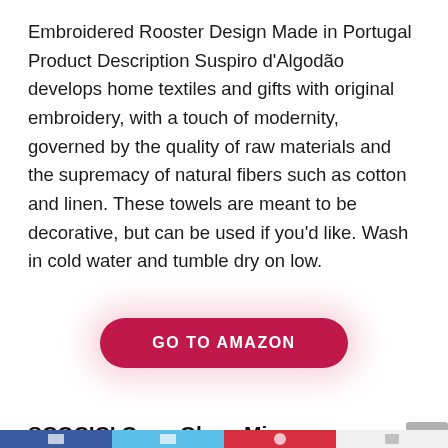Embroidered Rooster Design Made in Portugal Product Description Suspiro d'Algodão develops home textiles and gifts with original embroidery, with a touch of modernity, governed by the quality of raw materials and the supremacy of natural fibers such as cotton and linen. These towels are meant to be decorative, but can be used if you'd like. Wash in cold water and tumble dry on low.
[Figure (other): A pink/red rounded button with white bold uppercase text reading 'GO TO AMAZON', with a pink glow/shadow effect around it]
SCOCICI Oven Glove Microwave Glove Laurel Forest in Portugal Foggy October Day Wild Magical Exotic Nature Photo Barbecue Glove Kitchen Cooking Bake Heat Resistant Glove Combination